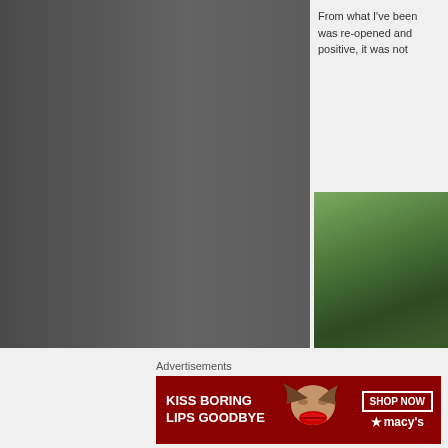[Figure (photo): Left side large photo area showing a person with grey/dark toned image, partially visible]
From what I've been was re-opened and positive, it was not
[Figure (photo): Right side photo showing green tropical plants and foliage against a white wall or surface]
Advertisements
[Figure (photo): Macy's advertisement banner: KISS BORING LIPS GOODBYE with a woman's face showing red lips, SHOP NOW button and Macy's star logo]